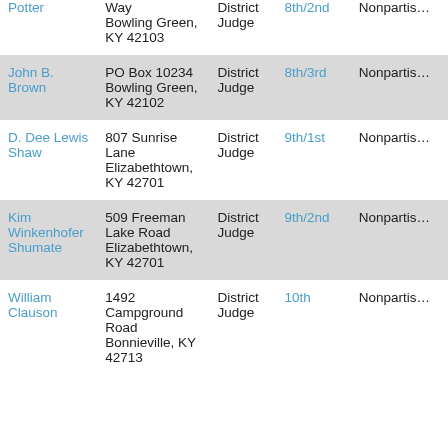| Name | Address | Role | District | Party |
| --- | --- | --- | --- | --- |
| [Elaine/]
Potter | [Way]
Bowling Green,
KY 42103 | District
Judge | 8th/2nd | Nonpartisan |
| John B.
Brown | PO Box 10234
Bowling Green,
KY 42102 | District
Judge | 8th/3rd | Nonpartisan |
| D. Dee Lewis
Shaw | 807 Sunrise
Lane
Elizabethtown,
KY 42701 | District
Judge | 9th/1st | Nonpartisan |
| Kim
Winkenhofer
Shumate | 509 Freeman
Lake Road
Elizabethtown,
KY 42701 | District
Judge | 9th/2nd | Nonpartisan |
| William
Clauson | 1492
Campground
Road
Bonnieville, KY
42713 | District
Judge | 10th | Nonpartisan |